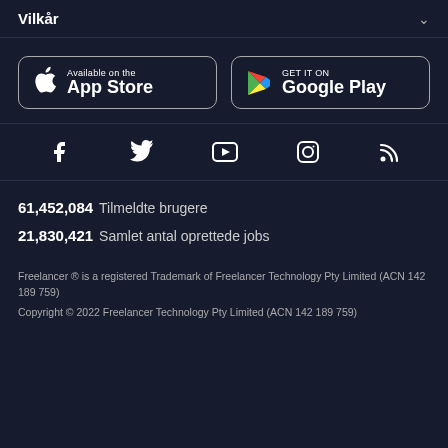Vilkår
[Figure (logo): App Store and Google Play store buttons]
[Figure (logo): Social media icons: Facebook, Twitter, YouTube, Instagram, RSS]
61,452,084  Tilmeldte brugere
21,830,421  Samlet antal oprettede jobs
Freelancer ® is a registered Trademark of Freelancer Technology Pty Limited (ACN 142 189 759)
Copyright © 2022 Freelancer Technology Pty Limited (ACN 142 189 759)